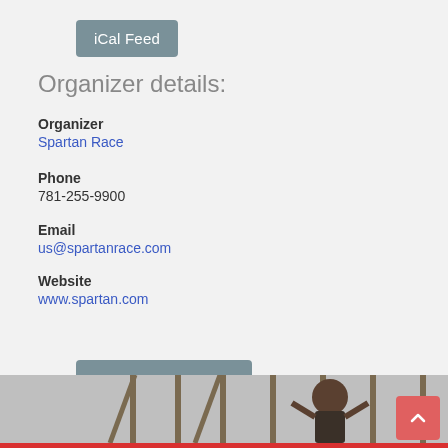iCal Feed
Organizer details:
Organizer
Spartan Race
Phone
781-255-9900
Email
us@spartanrace.com
Website
www.spartan.com
Register Now
[Figure (photo): Athlete hanging from monkey bars or similar obstacle at a Spartan Race event]